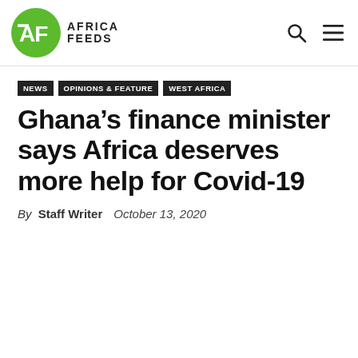Africa Feeds — NEWS | OPINIONS & FEATURE | WEST AFRICA
Ghana's finance minister says Africa deserves more help for Covid-19
By Staff Writer   October 13, 2020